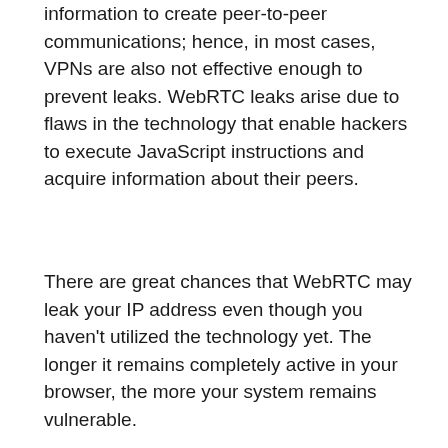information to create peer-to-peer communications; hence, in most cases, VPNs are also not effective enough to prevent leaks. WebRTC leaks arise due to flaws in the technology that enable hackers to execute JavaScript instructions and acquire information about their peers.
There are great chances that WebRTC may leak your IP address even though you haven't utilized the technology yet. The longer it remains completely active in your browser, the more your system remains vulnerable.